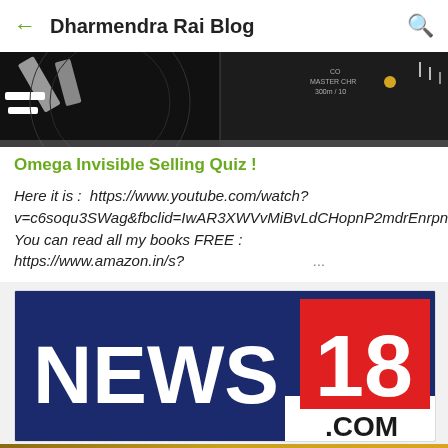Dharmendra Rai Blog
[Figure (photo): Close-up photograph of Omega watch faces/dials, black dial with gold accents, partial text reading MASTER CHR 300m/10]
Omega Invisible Selling Quiz !
Here it is :  https://www.youtube.com/watch?v=c6soqu3SWag&fbclid=IwAR3XWVvMiBvLdCHopnP2mdrEnrpn9ZYs4muX2Es1v8r4Ec3ROVDebJZ3Z2Y You can read all my books FREE :  https://www.amazon.in/s? ...
[Figure (logo): News18.com logo - dark navy background with white NEWS text and red square with white 18, .COM in dark text below]